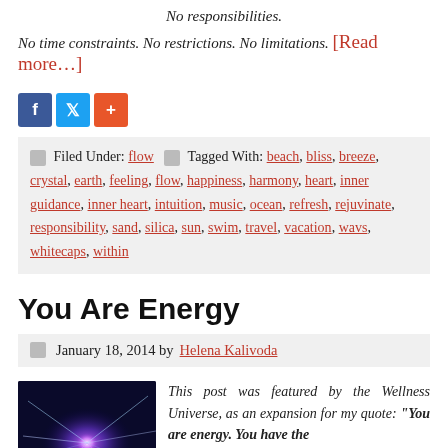No responsibilities.
No time constraints. No restrictions. No limitations. [Read more…]
[Figure (other): Social share buttons: Facebook (blue), Twitter (light blue), Plus (orange-red)]
Filed Under: flow   Tagged With: beach, bliss, breeze, crystal, earth, feeling, flow, happiness, harmony, heart, inner guidance, inner heart, intuition, music, ocean, refresh, rejuvinate, responsibility, sand, silica, sun, swim, travel, vacation, wavs, whitecaps, within
You Are Energy
January 18, 2014 by Helena Kalivoda
This post was featured by the Wellness Universe, as an expansion for my quote: "You are energy. You have the